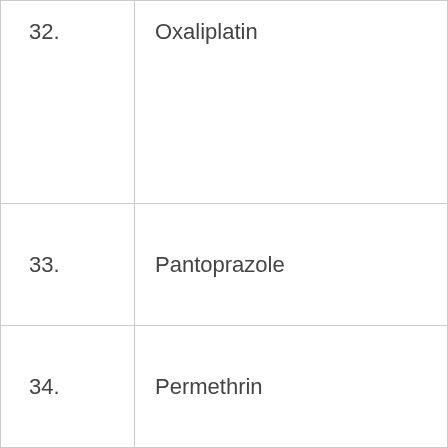| # | Name |
| --- | --- |
| 32. | Oxaliplatin |
| 33. | Pantoprazole |
| 34. | Permethrin |